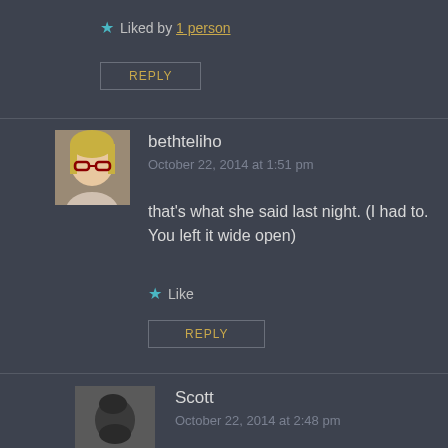★ Liked by 1 person
REPLY
bethteliho
October 22, 2014 at 1:51 pm
that's what she said last night. (I had to. You left it wide open)
★ Like
REPLY
Scott
October 22, 2014 at 2:48 pm
I was alone last night, so she was lying.
★ Liked by 1 person